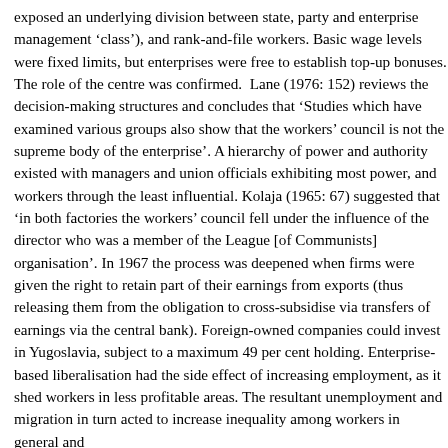exposed an underlying division between state, party and enterprise management 'class'), and rank-and-file workers. Basic wage levels were fixed limits, but enterprises were free to establish top-up bonuses. The role of the centre was confirmed. Lane (1976: 152) reviews the decision-making structures and concludes that 'Studies which have examined various groups also show that the workers' council is not the supreme body of the enterprise'. A hierarchy of power and authority existed with managers and union officials exhibiting most power, and workers through the shop floor the least influential. Kolaja (1965: 67) suggested that 'in both factories the workers' council fell under the influence of the director who was a member of the League [of Communists] organisation'. In 1967 the process was deepened when firms were given the right to retain part of their earnings from exports (thus releasing them from the obligation to cross-subsidise via transfers of earnings via the central bank). Foreign-owned companies could invest in Yugoslavia, subject to a maximum 49 per cent holding. Enterprise-based liberalisation had the side effect of increasing unemployment, as it shed workers in less profitable areas. The resultant unemployment and migration in turn acted to increase inequality among workers in general and